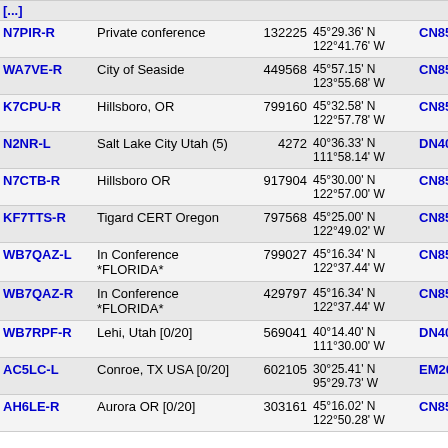| Callsign | Name | ID | Location | Grid | Freq |
| --- | --- | --- | --- | --- | --- |
| N7PIR-R | Private conference | 132225 | 45°29.36' N 122°41.76' W | CN85pl | 5196. |
| WA7VE-R | City of Seaside | 449568 | 45°57.15' N 123°55.68' W | CN85aw | 5197. |
| K7CPU-R | Hillsboro, OR | 799160 | 45°32.58' N 122°57.78' W | CN85mn | 5199. |
| N2NR-L | Salt Lake City Utah (5) | 4272 | 40°36.33' N 111°58.14' W | DN40ao | 5201. |
| N7CTB-R | Hillsboro OR | 917904 | 45°30.00' N 122°57.00' W | CN85mm | 5202. |
| KF7TTS-R | Tigard CERT Oregon | 797568 | 45°25.00' N 122°49.02' W | CN85ok | 5203. |
| WB7QAZ-L | In Conference *FLORIDA* | 799027 | 45°16.34' N 122°37.44' W | CN85qg | 5208. |
| WB7QAZ-R | In Conference *FLORIDA* | 429797 | 45°16.34' N 122°37.44' W | CN85qg | 5208. |
| WB7RPF-R | Lehi, Utah [0/20] | 569041 | 40°14.40' N 111°30.00' W | DN40gf | 5209. |
| AC5LC-L | Conroe, TX USA [0/20] | 602105 | 30°25.41' N 95°29.73' W | EM20gk | 5213. |
| AH6LE-R | Aurora OR [0/20] | 303161 | 45°16.02' N 122°50.28' W | CN85ng | 5213. |